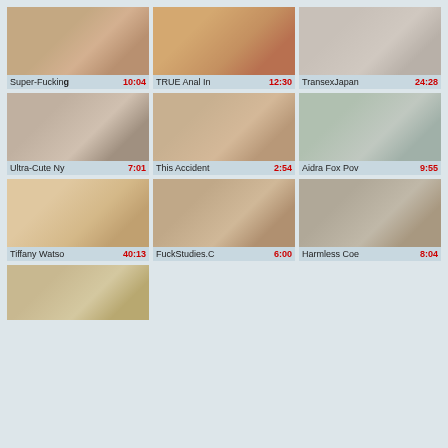[Figure (screenshot): Video thumbnail grid showing adult video thumbnails with titles and durations]
Super-Fucking 10:04
TRUE Anal In 12:30
TransexJapan 24:28
Ultra-Cute Ny 7:01
This Accident 2:54
Aidra Fox Pov 9:55
Tiffany Watso 40:13
FuckStudies.C 6:00
Harmless Coe 8:04